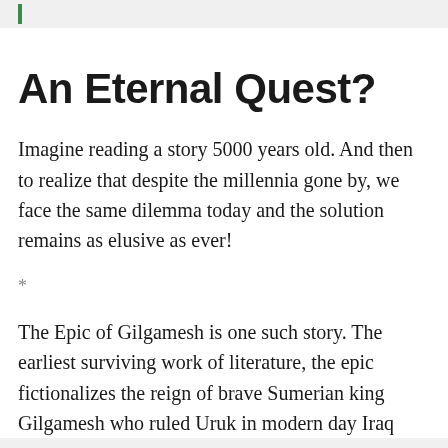An Eternal Quest?
Imagine reading a story 5000 years old. And then to realize that despite the millennia gone by, we face the same dilemma today and the solution remains as elusive as ever!
*
The Epic of Gilgamesh is one such story. The earliest surviving work of literature, the epic fictionalizes the reign of brave Sumerian king Gilgamesh who ruled Uruk in modern day Iraq around 2600 BCE.